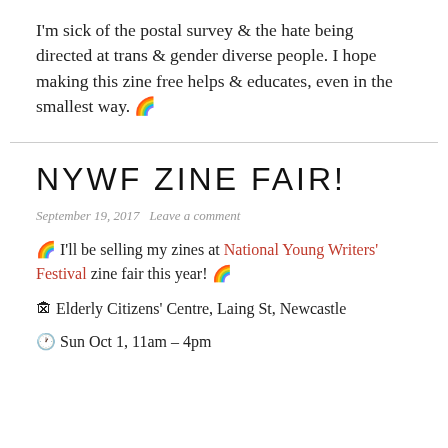I'm sick of the postal survey & the hate being directed at trans & gender diverse people. I hope making this zine free helps & educates, even in the smallest way. 🌈
NYWF ZINE FAIR!
September 19, 2017   Leave a comment
🌈 I'll be selling my zines at National Young Writers' Festival zine fair this year! 🌈
🏚 Elderly Citizens' Centre, Laing St, Newcastle
🕐 Sun Oct 1, 11am – 4pm